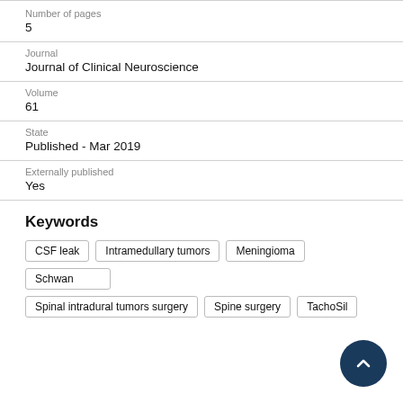Number of pages
5
Journal
Journal of Clinical Neuroscience
Volume
61
State
Published - Mar 2019
Externally published
Yes
Keywords
CSF leak
Intramedullary tumors
Meningioma
Schwannoma
Spinal intradural tumors surgery
Spine surgery
TachoSil